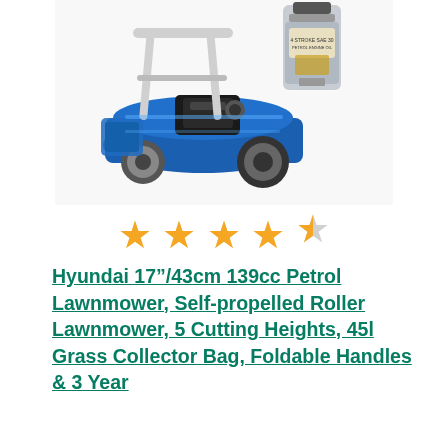[Figure (photo): Photo of a blue Hyundai petrol lawnmower (self-propelled roller lawnmower) with a bottle of 4-stroke SAE 30 engine oil next to it, on a white background.]
★★★★½ (4.5 stars rating)
Hyundai 17"/43cm 139cc Petrol Lawnmower, Self-propelled Roller Lawnmower, 5 Cutting Heights, 45l Grass Collector Bag, Foldable Handles & 3 Year